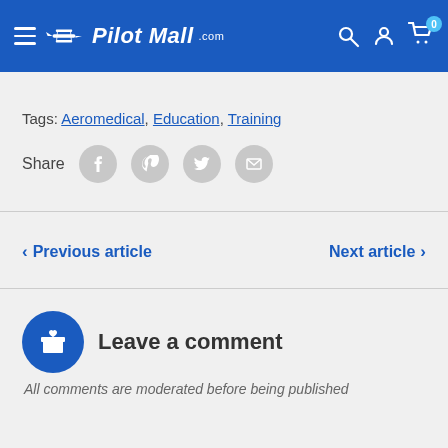Pilot Mall — navigation header with hamburger menu, logo, search, account, and cart (0 items)
Tags: Aeromedical, Education, Training
[Figure (infographic): Share row with label 'Share' and four social icon circles: Facebook, Pinterest, Twitter, Email]
< Previous article    Next article >
Leave a comment
All comments are moderated before being published